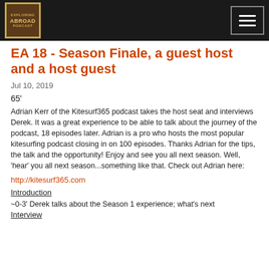[Figure (logo): Podcast logo with gold/brown branding on dark background header bar with hamburger menu button]
EA 18 - Season Finale, a guest host and a host guest
Jul 10, 2019
65'
Adrian Kerr of the Kitesurf365 podcast takes the host seat and interviews Derek.  It was a great experience to be able to talk about the journey of the podcast, 18 episodes later.  Adrian is a pro who hosts the most popular kitesurfing podcast closing in on 100 episodes.  Thanks Adrian for the tips, the talk and the opportunity!  Enjoy and see you all next season.  Well, 'hear' you all next season...something like that.  Check out Adrian here:
http://kitesurf365.com
Introduction
~0-3' Derek talks about the Season 1 experience; what's next
Interview